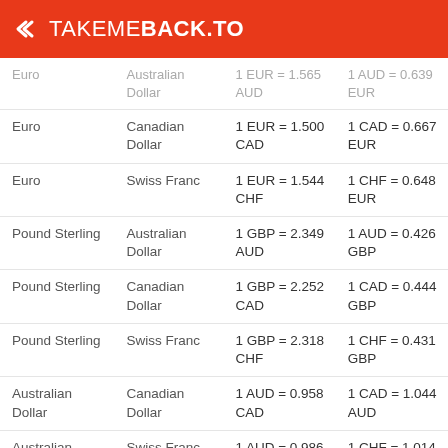TAKEMEBACK.TO
| Currency 1 | Currency 2 | Rate 1→2 | Rate 2→1 |
| --- | --- | --- | --- |
| Euro | Australian Dollar | 1 EUR = 1.565 AUD | 1 AUD = 0.639 EUR |
| Euro | Canadian Dollar | 1 EUR = 1.500 CAD | 1 CAD = 0.667 EUR |
| Euro | Swiss Franc | 1 EUR = 1.544 CHF | 1 CHF = 0.648 EUR |
| Pound Sterling | Australian Dollar | 1 GBP = 2.349 AUD | 1 AUD = 0.426 GBP |
| Pound Sterling | Canadian Dollar | 1 GBP = 2.252 CAD | 1 CAD = 0.444 GBP |
| Pound Sterling | Swiss Franc | 1 GBP = 2.318 CHF | 1 CHF = 0.431 GBP |
| Australian Dollar | Canadian Dollar | 1 AUD = 0.958 CAD | 1 CAD = 1.044 AUD |
| Australian Dollar | Swiss Franc | 1 AUD = 0.986 CHF | 1 CHF = 1.014 AUD |